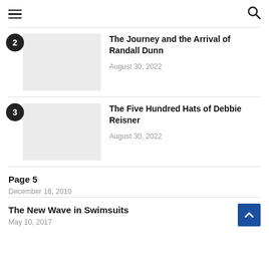≡  🔍
2 — The Journey and the Arrival of Randall Dunn — August 30, 2022
3 — The Five Hundred Hats of Debbie Reisner — August 30, 2022
Page 5
December 16, 2010
The New Wave in Swimsuits
May 10, 2017